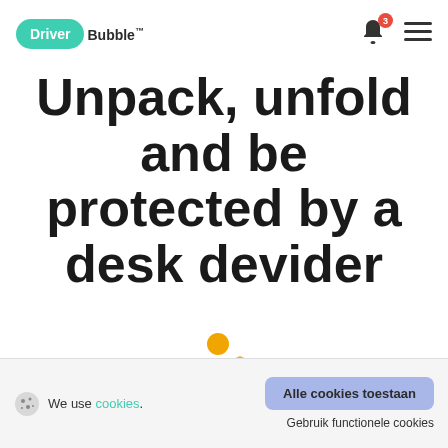[Figure (logo): DriverBubble logo: green oval with white 'Driver' text and dark 'Bubble™' text]
[Figure (illustration): Bell notification icon with red badge showing number 3, and hamburger menu icon]
Unpack, unfold and be protected by a desk devider
[Figure (illustration): Yellow user with shield icon representing 180 degree protection]
180° protection
[Figure (illustration): Teal spray bottle icon]
We use cookies.
Alle cookies toestaan
Gebruik functionele cookies